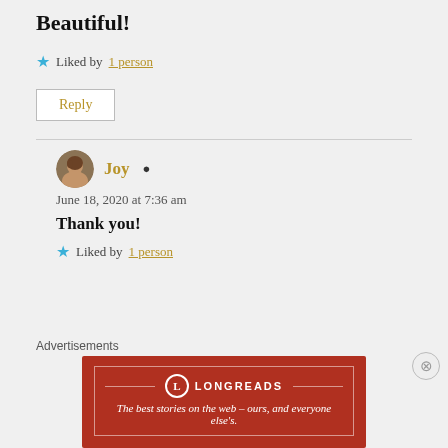Beautiful!
★ Liked by 1 person
Reply
Joy  June 18, 2020 at 7:36 am
Thank you!
★ Liked by 1 person
Advertisements
[Figure (infographic): Longreads advertisement banner: red background, Longreads logo with circle L, tagline 'The best stories on the web – ours, and everyone else's.']